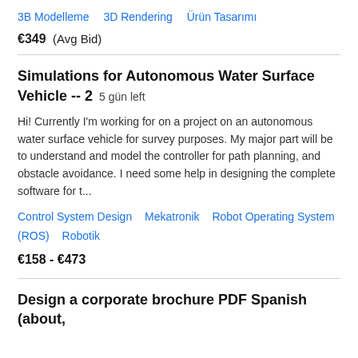3B Modelleme   3D Rendering   Ürün Tasarımı
€349  (Avg Bid)
Simulations for Autonomous Water Surface Vehicle -- 2  5 gün left
Hi! Currently I'm working for on a project on an autonomous water surface vehicle for survey purposes. My major part will be to understand and model the controller for path planning, and obstacle avoidance. I need some help in designing the complete software for t...
Control System Design   Mekatronik   Robot Operating System (ROS)   Robotik
€158 - €473
Design a corporate brochure PDF Spanish (about,